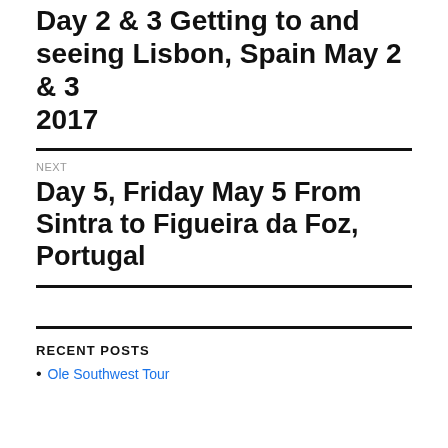Day 2 & 3 Getting to and seeing Lisbon, Spain May 2 & 3 2017
NEXT
Day 5, Friday May 5 From Sintra to Figueira da Foz, Portugal
RECENT POSTS
Ole Southwest Tour